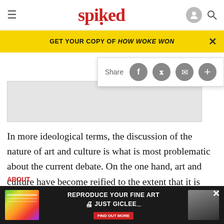spiked
GET YOUR COPY OF HOW WOKE WON
[Figure (screenshot): Share bar with social media icons (Facebook, Twitter, email, plus) on white background with shadow]
[Figure (photo): Grey rectangular image placeholder area]
In more ideological terms, the discussion of the nature of art and culture is what is most problematic about the current debate. On the one hand, art and culture have become reified to the extent that it is almost impossible to discuss it in comparison with other areas of pub
ABOUT
[Figure (screenshot): Bottom advertisement banner: REPRODUCE YOUR FINE ART JUST GICLEE with colorful image at left and photo at right]